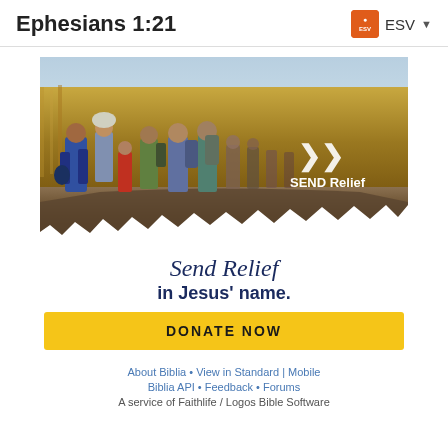Ephesians 1:21  ESV
[Figure (photo): Advertisement banner showing refugees/migrants walking along a muddy path through cornfields, carrying bags and backpacks. SEND Relief logo and arrow icon visible in lower right of photo. Below the photo: cursive text 'Send Relief' and bold text 'in Jesus' name.' with a yellow DONATE NOW button.]
About Biblia • View in Standard | Mobile
Biblia API • Feedback • Forums
A service of Faithlife / Logos Bible Software